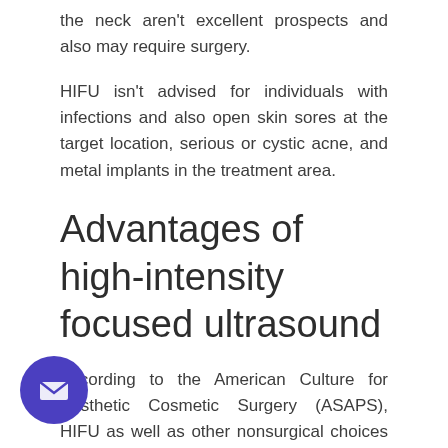the neck aren't excellent prospects and also may require surgery.
HIFU isn't advised for individuals with infections and also open skin sores at the target location, serious or cystic acne, and metal implants in the treatment area.
Advantages of high-intensity focused ultrasound
According to the American Culture for Aesthetic Cosmetic Surgery (ASAPS), HIFU as well as other nonsurgical choices to facelifts have actually seen a major rise in popularity over the couple of years. The total number of treatments done has actually enhanced 64.8 percent in between 2012 and 2017.